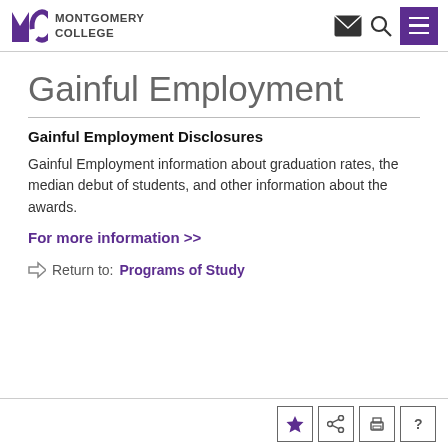Montgomery College
Gainful Employment
Gainful Employment Disclosures
Gainful Employment information about graduation rates, the median debut of students, and other information about the awards.
For more information >>
Return to: Programs of Study